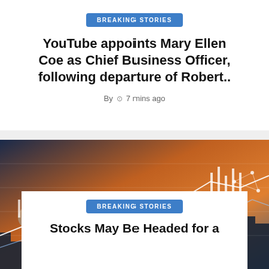BREAKING STORIES
YouTube appoints Mary Ellen Coe as Chief Business Officer, following departure of Robert..
By  🕐 7 mins ago
[Figure (photo): Financial stock market chart with candlestick patterns and glowing lines against a dramatic orange sky and city skyline background]
BREAKING STORIES
Stocks May Be Headed for a